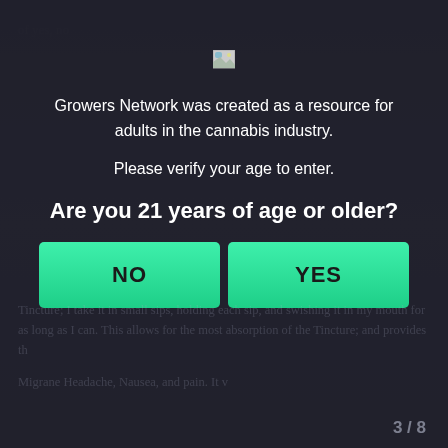[Figure (screenshot): Broken image icon placeholder at top center of modal]
Growers Network was created as a resource for adults in the cannabis industry.
Please verify your age to enter.
Are you 21 years of age or older?
[Figure (other): Two large green buttons side by side: NO and YES]
Tincture; I take it in small sips, holding each sip, and swishing it in my mouth for as long as I can. This allows for the most absorption of the Tincture; and provides th
Migrane Headache, Nausea, and pain. It v
3 / 8